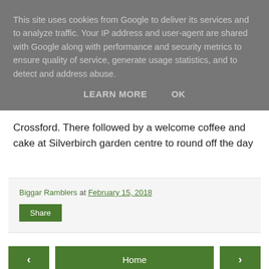This site uses cookies from Google to deliver its services and to analyze traffic. Your IP address and user-agent are shared with Google along with performance and security metrics to ensure quality of service, generate usage statistics, and to detect and address abuse.
LEARN MORE   OK
Crossford. There followed by a welcome coffee and cake at Silverbirch garden centre to round off the day
Biggar Ramblers at February 15, 2018
Share
‹
Home
›
View web version
Powered by Blogger.